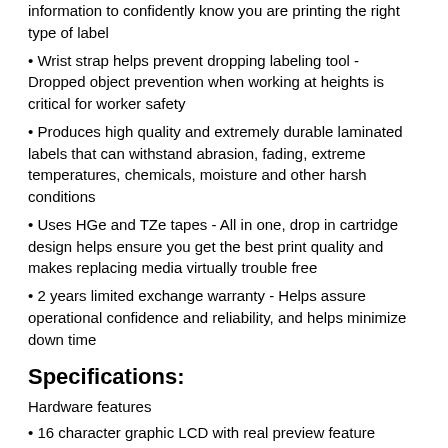information to confidently know you are printing the right type of label
Wrist strap helps prevent dropping labeling tool - Dropped object prevention when working at heights is critical for worker safety
Produces high quality and extremely durable laminated labels that can withstand abrasion, fading, extreme temperatures, chemicals, moisture and other harsh conditions
Uses HGe and TZe tapes - All in one, drop in cartridge design helps ensure you get the best print quality and makes replacing media virtually trouble free
2 years limited exchange warranty - Helps assure operational confidence and reliability, and helps minimize down time
Specifications:
Hardware features
16 character graphic LCD with real preview feature
Powered by AC adapter (supplied)
Powered by 6 x AAA batteries (LR03 alkaline or HR03 rechargeable Ni-MH), not supplied
PC layout QWERTY keyboard with dedicated numeric keypad
Label printing
Prints labels up to 12mm in width